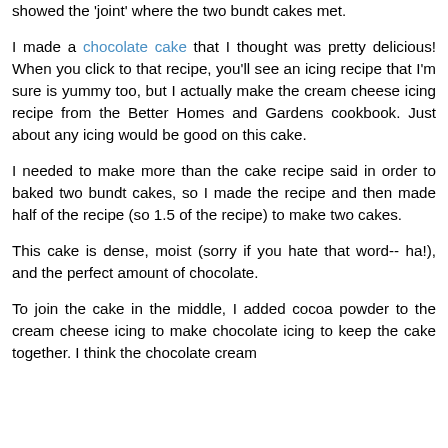showed the 'joint' where the two bundt cakes met.
I made a chocolate cake that I thought was pretty delicious!  When you click to that recipe, you'll see an icing recipe that I'm sure is yummy too, but I actually make the cream cheese icing recipe from the Better Homes and Gardens cookbook.  Just about any icing would be good on this cake.
I needed to make more than the cake recipe said in order to baked two bundt cakes, so I made the recipe and then made half of the recipe (so 1.5 of the recipe) to make two cakes.
This cake is dense, moist (sorry if you hate that word-- ha!), and the perfect amount of chocolate.
To join the cake in the middle, I added cocoa powder to the cream cheese icing to make chocolate icing to keep the cake together.  I think the chocolate cream